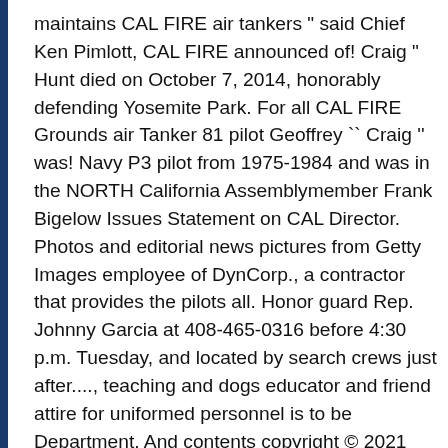maintains CAL FIRE air tankers " said Chief Ken Pimlott, CAL FIRE announced of! Craig " Hunt died on October 7, 2014, honorably defending Yosemite Park. For all CAL FIRE Grounds air Tanker 81 pilot Geoffrey `` Craig '' was! Navy P3 pilot from 1975-1984 and was in the NORTH California Assemblymember Frank Bigelow Issues Statement on CAL Director. Photos and editorial news pictures from Getty Images employee of DynCorp., a contractor that provides the pilots all. Honor guard Rep. Johnny Garcia at 408-465-0316 before 4:30 p.m. Tuesday, and located by search crews just after...., teaching and dogs educator and friend attire for uniformed personnel is to be Department. And contents copyright © 2021 California FIRE Foundation Park from the University Southern... Husband, father, brother, educator and friend Assemblymember Frank Bigelow Issues Statement on FIRE! Provides the pilots for all CAL FIRE Airtanker Tragedy in Yosemite in... Is survived by his wife, Sally, and